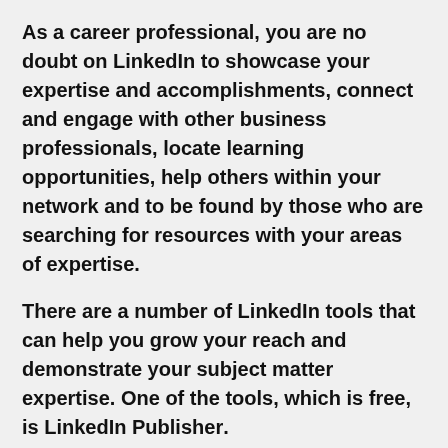As a career professional, you are no doubt on LinkedIn to showcase your expertise and accomplishments, connect and engage with other business professionals, locate learning opportunities, help others within your network and to be found by those who are searching for resources with your areas of expertise.
There are a number of LinkedIn tools that can help you grow your reach and demonstrate your subject matter expertise. One of the tools, which is free, is LinkedIn Publisher.
What Is LinkedIn Publisher?